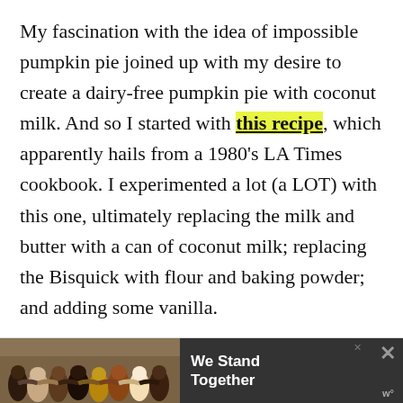My fascination with the idea of impossible pumpkin pie joined up with my desire to create a dairy-free pumpkin pie with coconut milk. And so I started with this recipe, which apparently hails from a 1980's LA Times cookbook. I experimented a lot (a LOT) with this one, ultimately replacing the milk and butter with a can of coconut milk; replacing the Bisquick with flour and baking powder; and adding some vanilla.

You literally throw it all in the blender, mix it all up, then pour it into your pie pan and bake.
[Figure (infographic): Advertisement banner with group photo of people with arms around each other and text 'We Stand Together' on dark background with close buttons]